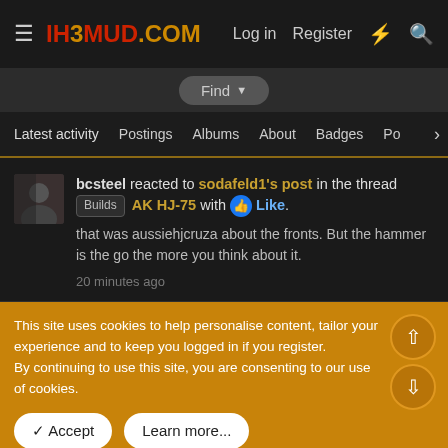IH3MUD.COM — Log in  Register
Find ▾
Latest activity   Postings   Albums   About   Badges   Po  >
bcsteel reacted to sodafeld1's post in the thread Builds AK HJ-75 with 👍 Like.
that was aussiehjcruza about the fronts. But the hammer is the go the more you think about it.
20 minutes ago
This site uses cookies to help personalise content, tailor your experience and to keep you logged in if you register.
By continuing to use this site, you are consenting to our use of cookies.
✓ Accept   Learn more...